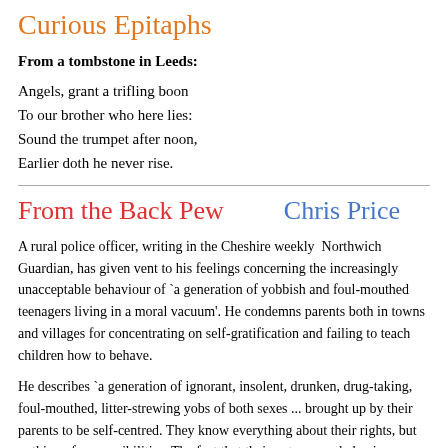Curious Epitaphs
From a tombstone in Leeds:
Angels, grant a trifling boon
To our brother who here lies:
Sound the trumpet after noon,
Earlier doth he never rise.
From the Back Pew    Chris Price
A rural police officer, writing in the Cheshire weekly  Northwich Guardian, has given vent to his feelings concerning the increasingly unacceptable behaviour of `a generation of yobbish and foul-mouthed teenagers living in a moral vacuum'. He condemns parents both in towns and villages for concentrating on self-gratification and failing to teach children how to behave.
He describes `a generation of ignorant, insolent, drunken, drug-taking, foul-mouthed, litter-strewing yobs of both sexes ... brought up by their parents to be self-centred. They know everything about their rights, but nothing of responsibilities. The fact that their outrageous behaviour may be making life a misery for other people